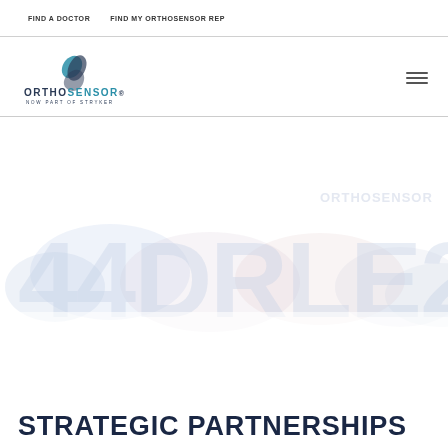FIND A DOCTOR   FIND MY ORTHOSENSOR REP
[Figure (logo): OrthoSensor logo with swoosh graphic, text 'ORTHOSENSOR' and subtitle 'NOW PART OF STRYKER']
[Figure (photo): Hero image with faded large text and oval/blob shapes in light blue/pink tones, watermark text 'ORTHOSENSOR' in upper right]
STRATEGIC PARTNERSHIPS